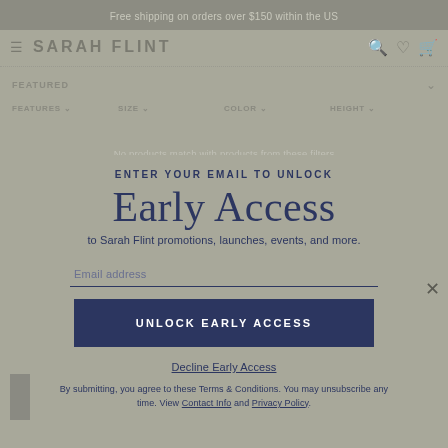Free shipping on orders over $150 within the US
SARAH FLINT
FEATURED
FEATURES   SIZE   COLOR   HEIGHT
ENTER YOUR EMAIL TO UNLOCK
Early Access
to Sarah Flint promotions, launches, events, and more.
Email address
UNLOCK EARLY ACCESS
Decline Early Access
By submitting, you agree to these Terms & Conditions. You may unsubscribe any time. View Contact Info and Privacy Policy.
Enjoy Early Access
Live chat